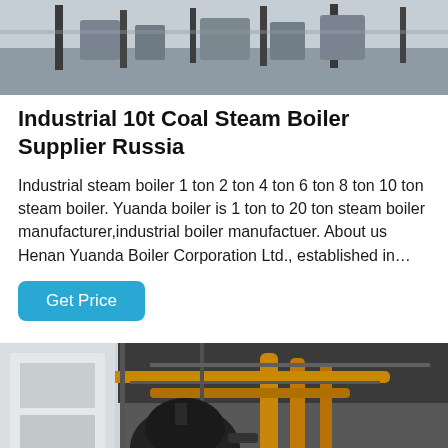[Figure (photo): Outdoor industrial facility with boilers or large equipment under an overcast sky, viewed from ground level. Several tall metal poles or pipes visible.]
Industrial 10t Coal Steam Boiler Supplier Russia
Industrial steam boiler 1 ton 2 ton 4 ton 6 ton 8 ton 10 ton steam boiler. Yuanda boiler is 1 ton to 20 ton steam boiler manufacturer,industrial boiler manufactuer. About us Henan Yuanda Boiler Corporation Ltd., established in…
[Figure (photo): Interior of an industrial boiler room or factory showing large cylindrical boiler equipment in dark color, yellow pipes and steel framework overhead, with dramatic lighting.]